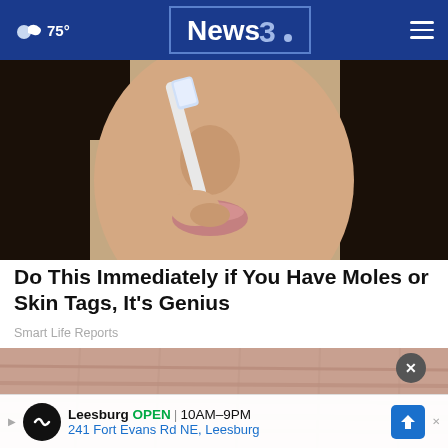75° News3 (navigation bar)
[Figure (photo): Close-up photo of a woman's face, lower half visible, holding a toothbrush near her nose against a beige background]
Do This Immediately if You Have Moles or Skin Tags, It's Genius
Smart Life Reports
[Figure (photo): Close-up photo of wrinkled skin texture, pinkish-brown tones]
Leesburg OPEN 10AM–9PM 241 Fort Evans Rd NE, Leesburg